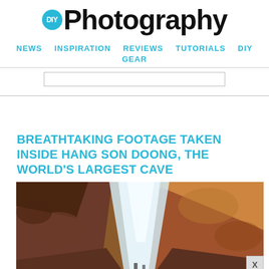DIY Photography
NEWS  INSPIRATION  REVIEWS  TUTORIALS  DIY  GEAR
BREATHTAKING FOOTAGE TAKEN INSIDE HANG SON DOONG, THE WORLD'S LARGEST CAVE
[Figure (photo): Interior of Hang Son Doong cave showing light beam entering through cave opening, rocky cave walls with orange-brown tones]